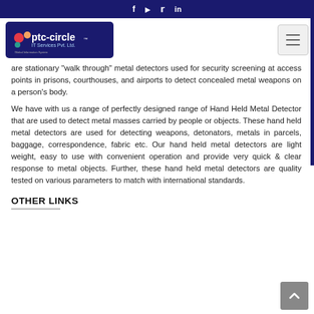f  yt  t  in
[Figure (logo): ptc-circle IT Services Pvt. Ltd. logo on dark blue background]
are stationary "walk through" metal detectors used for security screening at access points in prisons, courthouses, and airports to detect concealed metal weapons on a person's body.
We have with us a range of perfectly designed range of Hand Held Metal Detector that are used to detect metal masses carried by people or objects. These hand held metal detectors are used for detecting weapons, detonators, metals in parcels, baggage, correspondence, fabric etc. Our hand held metal detectors are light weight, easy to use with convenient operation and provide very quick & clear response to metal objects. Further, these hand held metal detectors are quality tested on various parameters to match with international standards.
OTHER LINKS